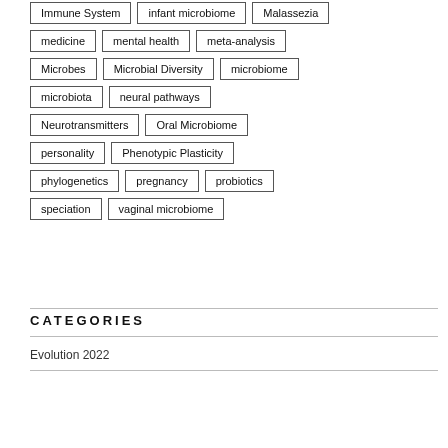Immune System
infant microbiome
Malassezia
medicine
mental health
meta-analysis
Microbes
Microbial Diversity
microbiome
microbiota
neural pathways
Neurotransmitters
Oral Microbiome
personality
Phenotypic Plasticity
phylogenetics
pregnancy
probiotics
speciation
vaginal microbiome
CATEGORIES
Evolution 2022